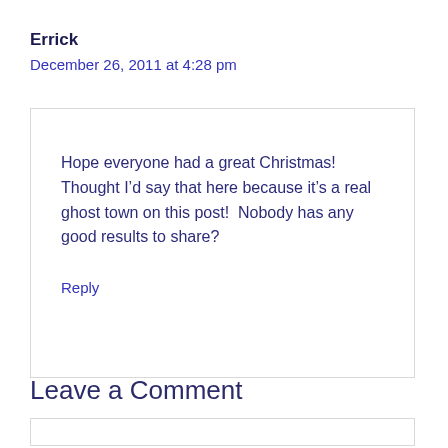Errick
December 26, 2011 at 4:28 pm
Hope everyone had a great Christmas! Thought I’d say that here because it’s a real ghost town on this post!  Nobody has any good results to share?
Reply
Leave a Comment